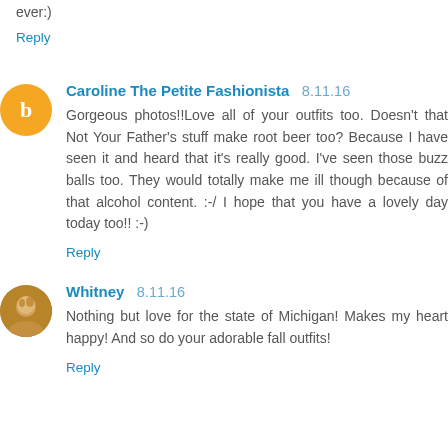ever:)
Reply
Caroline The Petite Fashionista 8.11.16
Gorgeous photos!!Love all of your outfits too. Doesn't that Not Your Father's stuff make root beer too? Because I have seen it and heard that it's really good. I've seen those buzz balls too. They would totally make me ill though because of that alcohol content. :-/ I hope that you have a lovely day today too!! :-)
Reply
Whitney 8.11.16
Nothing but love for the state of Michigan! Makes my heart happy! And so do your adorable fall outfits!
Reply